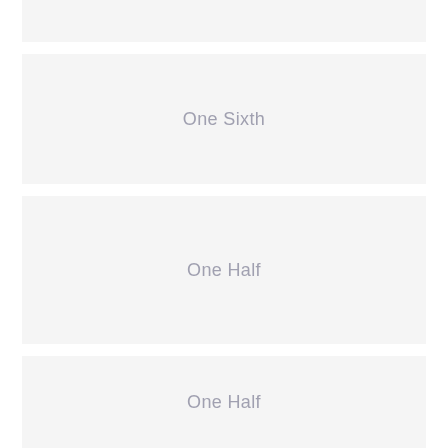[Figure (other): Gray placeholder block at top, no label]
[Figure (other): Gray placeholder block labeled 'One Sixth']
[Figure (other): Gray placeholder block labeled 'One Half']
[Figure (other): Gray placeholder block labeled 'One Half']